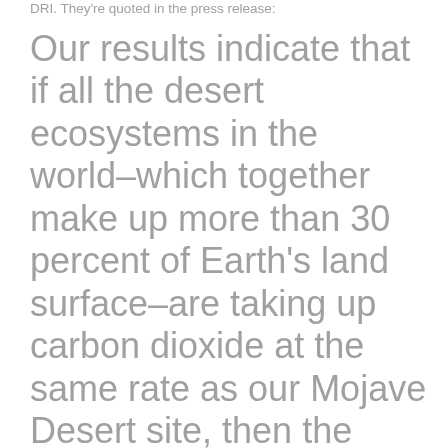DRI. They're quoted in the press release:
Our results indicate that if all the desert ecosystems in the world–which together make up more than 30 percent of Earth's land surface–are taking up carbon dioxide at the same rate as our Mojave Desert site, then the amount of carbon dioxide taken up each year would match the amount emitted to the atmosphere globally through burning of fossil